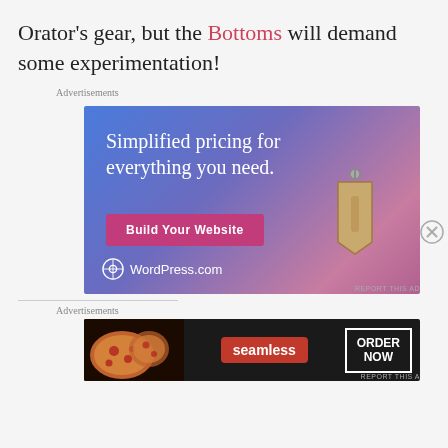Orator's gear, but the Bottoms will demand some experimentation!
[Figure (screenshot): WordPress.com advertisement: blue-to-pink gradient background with white text 'Simplified pricing for everything you need.', a pink button labeled 'Build Your Website', a tan price tag illustration, and WordPress.com logo at bottom left.]
[Figure (screenshot): Seamless food delivery advertisement: dark background with pizza image on left, red Seamless logo in center, and 'ORDER NOW' button in white bordered box on right.]